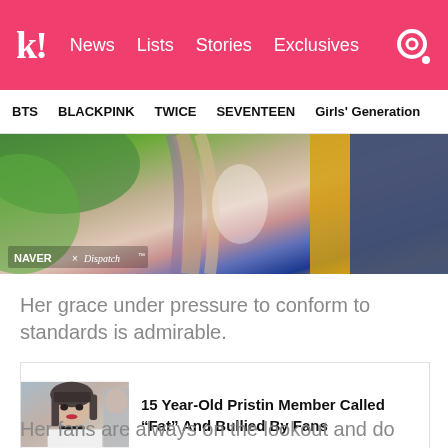k! News Lists Stories Exclusives
BTS  BLACKPINK  TWICE  SEVENTEEN  Girls' Generation
[Figure (photo): Photo of a K-pop idol with hair blowing, green leaves in background, wearing yellow and blue outfit. NAVER x Dispatch watermark.]
Her grace under pressure to conform to standards is admirable.
[Figure (photo): Thumbnail of a young woman with bangs, wearing a choker necklace, with another person partially visible beside her.]
15 Year-Old Pristin Member Called “Fat” And Bullied By Fans
Her fans are always on the lookout and do not